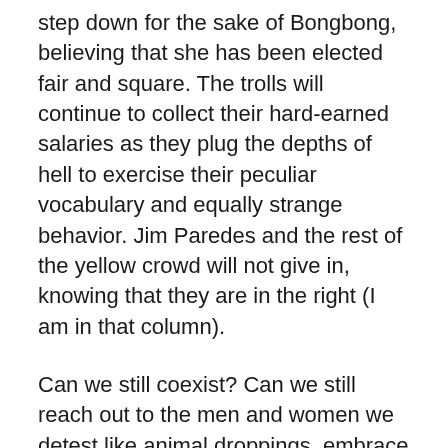step down for the sake of Bongbong, believing that she has been elected fair and square. The trolls will continue to collect their hard-earned salaries as they plug the depths of hell to exercise their peculiar vocabulary and equally strange behavior. Jim Paredes and the rest of the yellow crowd will not give in, knowing that they are in the right (I am in that column).
Can we still coexist? Can we still reach out to the men and women we detest like animal droppings, embrace them as taught in catechism and the Holy Bible? What will become of us if we continue in our path of mutual destruction?
I have no answers. Day in and day out, I try to sort life in the Philippines and I come up blank.
Shall we await the Second Coming of Christ because we have completely given up hope of leadership the way we